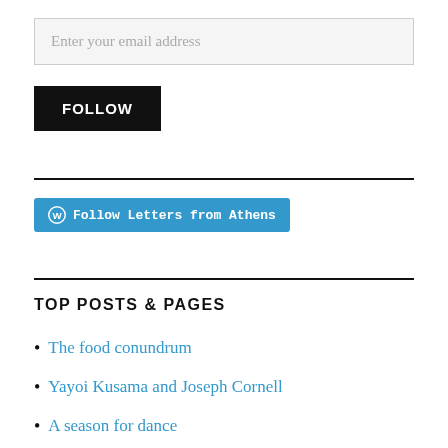Enter your email address
FOLLOW
[Figure (other): Blue WordPress Follow button with WordPress logo icon and text 'Follow Letters from Athens']
TOP POSTS & PAGES
The food conundrum
Yayoi Kusama and Joseph Cornell
A season for dance